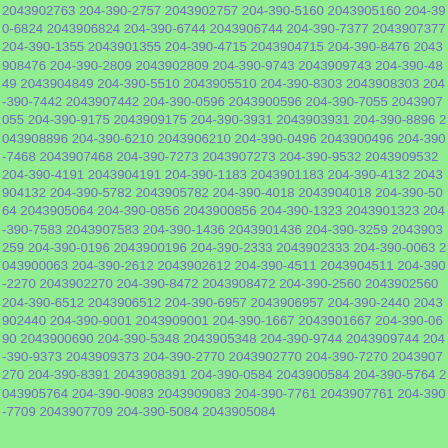2043902763 204-390-2757 2043902757 204-390-5160 2043905160 204-390-6824 2043906824 204-390-6744 2043906744 204-390-7377 2043907377 204-390-1355 2043901355 204-390-4715 2043904715 204-390-8476 2043908476 204-390-2809 2043902809 204-390-9743 2043909743 204-390-4849 2043904849 204-390-5510 2043905510 204-390-8303 2043908303 204-390-7442 2043907442 204-390-0596 2043900596 204-390-7055 2043907055 204-390-9175 2043909175 204-390-3931 2043903931 204-390-8896 2043908896 204-390-6210 2043906210 204-390-0496 2043900496 204-390-7468 2043907468 204-390-7273 2043907273 204-390-9532 2043909532 204-390-4191 2043904191 204-390-1183 2043901183 204-390-4132 2043904132 204-390-5782 2043905782 204-390-4018 2043904018 204-390-5064 2043905064 204-390-0856 2043900856 204-390-1323 2043901323 204-390-7583 2043907583 204-390-1436 2043901436 204-390-3259 2043903259 204-390-0196 2043900196 204-390-2333 2043902333 204-390-0063 2043900063 204-390-2612 2043902612 204-390-4511 2043904511 204-390-2270 2043902270 204-390-8472 2043908472 204-390-2560 2043902560 204-390-6512 2043906512 204-390-6957 2043906957 204-390-2440 2043902440 204-390-9001 2043909001 204-390-1667 2043901667 204-390-0690 2043900690 204-390-5348 2043905348 204-390-9744 2043909744 204-390-9373 2043909373 204-390-2770 2043902770 204-390-7270 2043907270 204-390-8391 2043908391 204-390-0584 2043900584 204-390-5764 2043905764 204-390-9083 2043909083 204-390-7761 2043907761 204-390-7709 2043907709 204-390-5084 2043905084